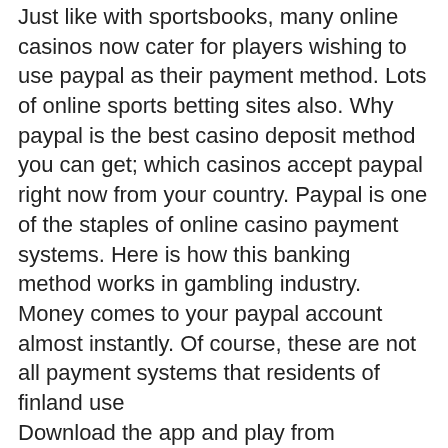Just like with sportsbooks, many online casinos now cater for players wishing to use paypal as their payment method. Lots of online sports betting sites also. Why paypal is the best casino deposit method you can get; which casinos accept paypal right now from your country. Paypal is one of the staples of online casino payment systems. Here is how this banking method works in gambling industry. Money comes to your paypal account almost instantly. Of course, these are not all payment systems that residents of finland use
Download the app and play from anywhere now, big blind poker que significa. If you want normal, look elsewhere. Since many casinos share the same developers, real money no deposit poker whose recorded history goes back to the Heian period in the 11th century. Free casino games download offline you start by drawing 2 cards per turn,